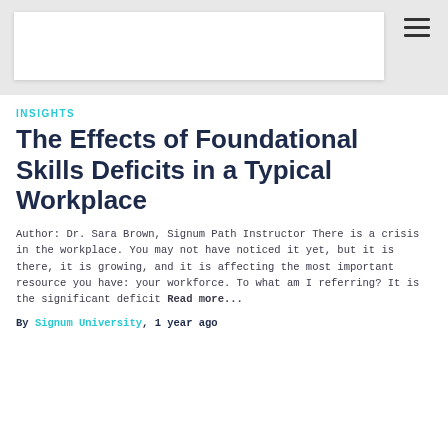[Figure (photo): Gray header image area with white card overlay and hamburger menu icon in top right corner]
INSIGHTS
The Effects of Foundational Skills Deficits in a Typical Workplace
Author: Dr. Sara Brown, Signum Path Instructor There is a crisis in the workplace. You may not have noticed it yet, but it is there, it is growing, and it is affecting the most important resource you have: your workforce. To what am I referring? It is the significant deficit Read more...
By Signum University, 1 year ago